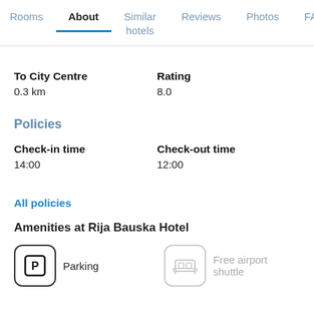Rooms | About | Similar hotels | Reviews | Photos | FAQ
To City Centre
0.3 km
Rating
8.0
Policies
Check-in time
14:00
Check-out time
12:00
All policies
Amenities at Rija Bauska Hotel
Parking
Free airport shuttle